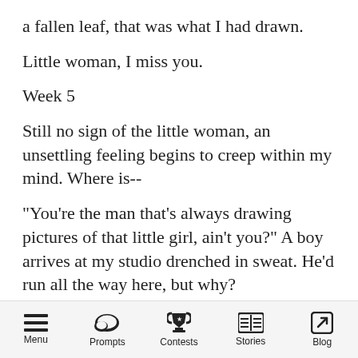a fallen leaf, that was what I had drawn.
Little woman, I miss you.
Week 5
Still no sign of the little woman, an unsettling feeling begins to creep within my mind. Where is--
"You're the man that's always drawing pictures of that little girl, ain't you?" A boy arrives at my studio drenched in sweat. He'd run all the way here, but why?
"She's gone man," the boy started to say. "On the news, haven't you seen the news!?"
Menu  Prompts  Contests  Stories  Blog